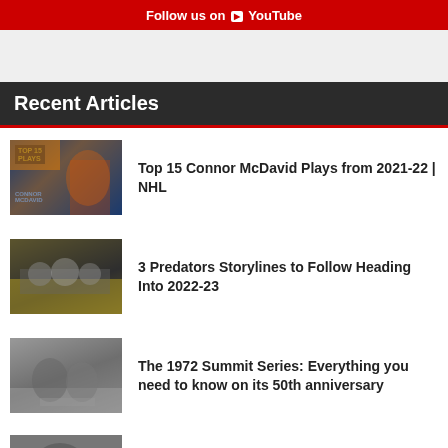Follow us on YouTube
Recent Articles
[Figure (photo): Top 15 Plays - Connor McDavid thumbnail showing player in Oilers jersey]
Top 15 Connor McDavid Plays from 2021-22 | NHL
[Figure (photo): Predators bench scene with coaches and players]
3 Predators Storylines to Follow Heading Into 2022-23
[Figure (photo): Black and white hockey photo from the 1972 Summit Series]
The 1972 Summit Series: Everything you need to know on its 50th anniversary
[Figure (photo): Partial thumbnail of fourth article]
Partial article title text (cut off)